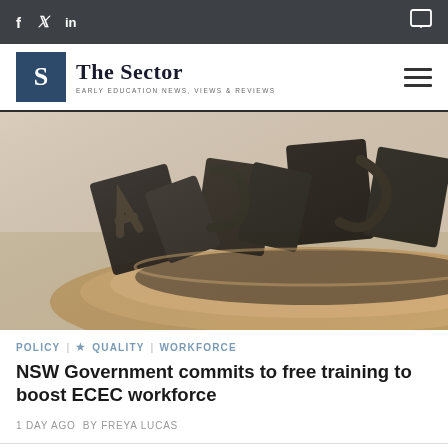f  🐦  in  [comment icon]
The Sector — EARLY EDUCATION NEWS, VIEWS & REVIEWS
[Figure (photo): Dark wooden letterpress type pieces arranged in a round wooden bowl/tray, photographed close-up at an angle. The letters are dark/black coloured on a light neutral background.]
POLICY  |  ★ QUALITY  |  WORKFORCE
NSW Government commits to free training to boost ECEC workforce
1 DAY AGO  BY FREYA LUCAS